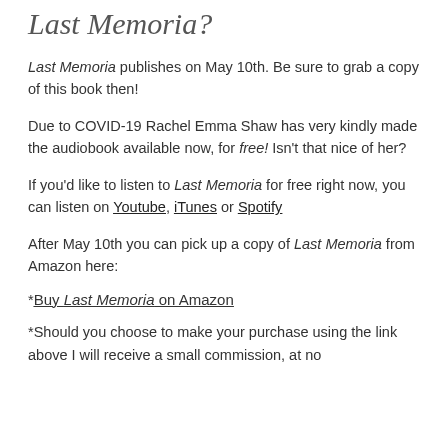Last Memoria?
Last Memoria publishes on May 10th. Be sure to grab a copy of this book then!
Due to COVID-19 Rachel Emma Shaw has very kindly made the audiobook available now, for free! Isn't that nice of her?
If you'd like to listen to Last Memoria for free right now, you can listen on Youtube, iTunes or Spotify
After May 10th you can pick up a copy of Last Memoria from Amazon here:
*Buy Last Memoria on Amazon
*Should you choose to make your purchase using the link above I will receive a small commission, at no